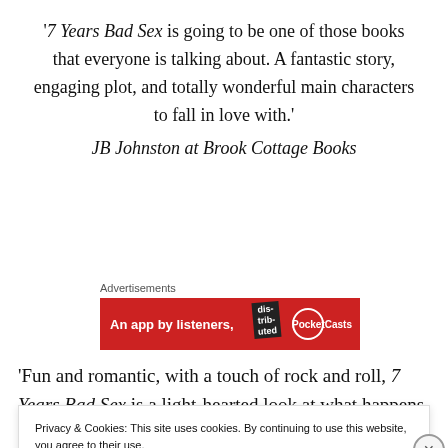'7 Years Bad Sex is going to be one of those books that everyone is talking about. A fantastic story, engaging plot, and totally wonderful main characters to fall in love with.' JB Johnston at Brook Cottage Books
Advertisements
[Figure (other): Red advertisement banner reading 'An app by listeners,' with a dark diagonal block and circular logo badge]
'Fun and romantic, with a touch of rock and roll, 7 Years Bad Sex is a light-hearted look at what happens to one
Privacy & Cookies: This site uses cookies. By continuing to use this website, you agree to their use. To find out more, including how to control cookies, see here: Cookie Policy
Close and accept